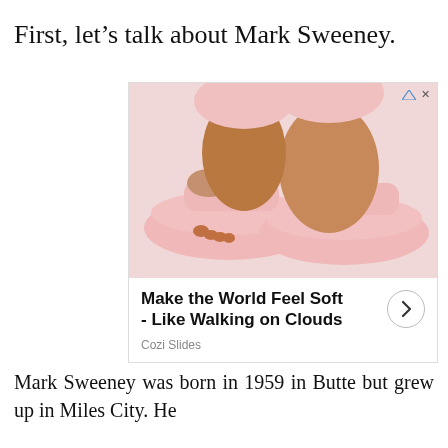First, let’s talk about Mark Sweeney.
[Figure (photo): Advertisement showing pink slide sandals (Cozi Slides) worn by a person. Text reads: Make the World Feel Soft - Like Walking on Clouds. Brand: Cozi Slides.]
Mark Sweeney was born in 1959 in Butte but grew up in Miles City. He